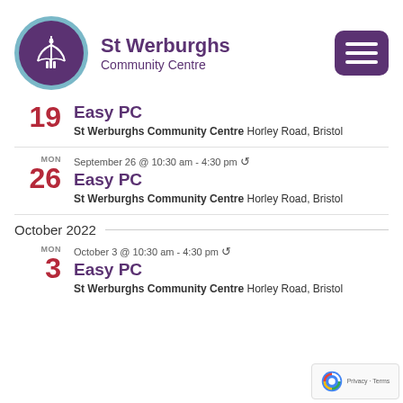[Figure (logo): St Werburghs Community Centre logo: white church/building icon on dark purple circle with light blue outer ring]
St Werburghs Community Centre
19 Easy PC — St Werburghs Community Centre Horley Road, Bristol
MON September 26 @ 10:30 am - 4:30 pm
26 Easy PC — St Werburghs Community Centre Horley Road, Bristol
October 2022
MON October 3 @ 10:30 am - 4:30 pm
3 Easy PC — St Werburghs Community Centre Horley Road, Bristol